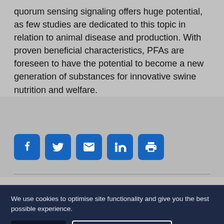quorum sensing signaling offers huge potential, as few studies are dedicated to this topic in relation to animal disease and production. With proven beneficial characteristics, PFAs are foreseen to have the potential to become a new generation of substances for innovative swine nutrition and welfare.
[Figure (other): Social media sharing icons: Facebook, Twitter, Email, LinkedIn, Print]
We use cookies to optimise site functionality and give you the best possible experience.